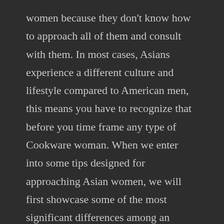women because they don't know how to approach all of them and consult with them. In most cases, Asians experience a different culture and lifestyle compared to American men, this means you have to recognize that before you time frame any type of Cookware woman. When we enter into some tips designed for approaching Asian women, we will first showcase some of the most significant differences among an Oriental girl and a European girl. Most of the people mix up between a great Asian woman and a ecu woman which is totally an error because they have a lot in common.
It doesn't matter whether they are single, or perhaps dating, just because they are certainly not from European countries does not mean they do not like you